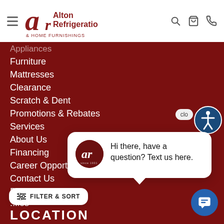Alton Refrigeration & Home Furnishings — navigation header with hamburger menu, logo, search, cart, phone icons
Appliances (partially visible)
Furniture
Mattresses
Clearance
Scratch & Dent
Promotions & Rebates
Services
About Us
Financing
Career Opportunities (partially obscured)
Contact Us
Blog
...ies (partially visible)
[Figure (screenshot): Chat popup with Alton Refrigeration logo avatar and text: Hi there, have a question? Text us here.]
[Figure (other): Accessibility icon (person in circle) in dark blue]
[Figure (other): Chat button (blue circle with message icon)]
[Figure (other): Filter & Sort button (white rounded rectangle)]
LOCATION